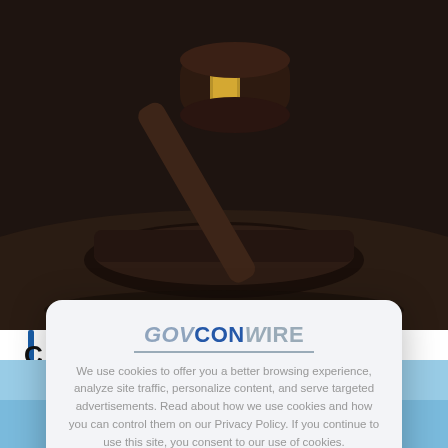[Figure (photo): Close-up photograph of a wooden judge's gavel with a gold band resting on a dark surface]
[Figure (photo): Partial view of a building with blue sky, visible at the bottom of the page behind the modal]
[Figure (screenshot): Cookie consent modal overlay on GovConWire website showing logo, cookie policy text, and X close button]
GOVCONWIRE
We use cookies to offer you a better browsing experience, analyze site traffic, personalize content, and serve targeted advertisements. Read about how we use cookies and how you can control them on our Privacy Policy. If you continue to use this site, you consent to our use of cookies.
X